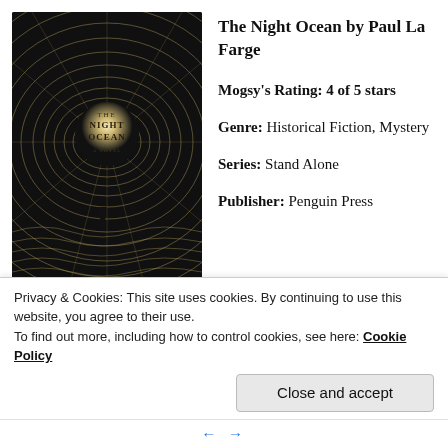[Figure (illustration): Book cover of 'The Night Ocean' by Paul La Farge — dark background with concentric swirling lines radiating from a glowing circle in the center, with a small dark figure below; author name at bottom in serif capitals.]
The Night Ocean by Paul La Farge
Mogsy's Rating: 4 of 5 stars
Genre: Historical Fiction, Mystery
Series: Stand Alone
Publisher: Penguin Press
Privacy & Cookies: This site uses cookies. By continuing to use this website, you agree to their use.
To find out more, including how to control cookies, see here: Cookie Policy
Close and accept